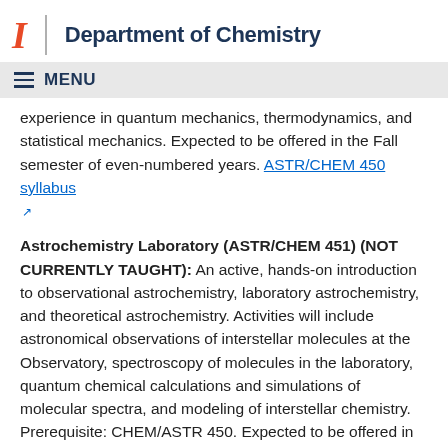Department of Chemistry
experience in quantum mechanics, thermodynamics, and statistical mechanics. Expected to be offered in the Fall semester of even-numbered years. ASTR/CHEM 450 syllabus
Astrochemistry Laboratory (ASTR/CHEM 451) (NOT CURRENTLY TAUGHT): An active, hands-on introduction to observational astrochemistry, laboratory astrochemistry, and theoretical astrochemistry. Activities will include astronomical observations of interstellar molecules at the Observatory, spectroscopy of molecules in the laboratory, quantum chemical calculations and simulations of molecular spectra, and modeling of interstellar chemistry. Prerequisite: CHEM/ASTR 450. Expected to be offered in the Spring semester of odd-numbered years.